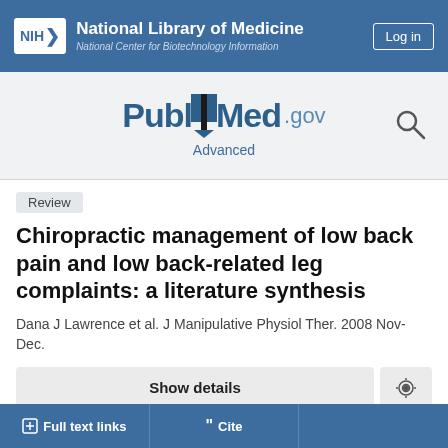NIH National Library of Medicine National Center for Biotechnology Information
[Figure (logo): PubMed.gov logo with search icon and Advanced link]
Review
Chiropractic management of low back pain and low back-related leg complaints: a literature synthesis
Dana J Lawrence et al. J Manipulative Physiol Ther. 2008 Nov-Dec.
Show details
Full text links | Cite